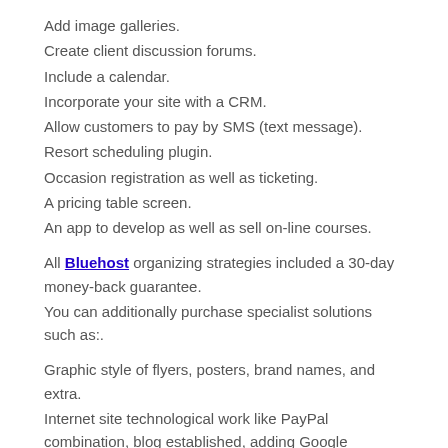Add image galleries.
Create client discussion forums.
Include a calendar.
Incorporate your site with a CRM.
Allow customers to pay by SMS (text message).
Resort scheduling plugin.
Occasion registration as well as ticketing.
A pricing table screen.
An app to develop as well as sell on-line courses.
All Bluehost organizing strategies included a 30-day money-back guarantee.
You can additionally purchase specialist solutions such as:.
Graphic style of flyers, posters, brand names, and extra.
Internet site technological work like PayPal combination, blog established, adding Google Analytics or a map to your site, and so on.